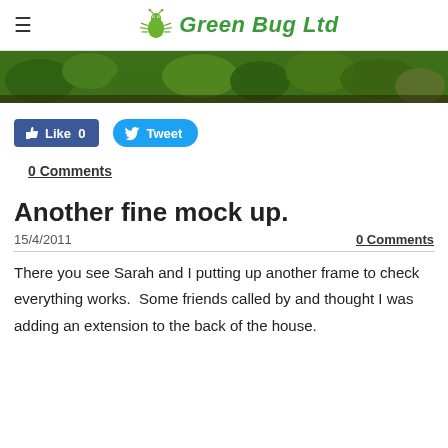Green Bug Ltd
[Figure (photo): A horizontal hero image strip showing green garden plants and foliage]
[Figure (other): Social sharing buttons: Facebook Like (0) and Twitter Tweet]
0 Comments
Another fine mock up.
15/4/2011
0 Comments
There you see Sarah and I putting up another frame to check everything works.  Some friends called by and thought I was adding an extension to the back of the house.